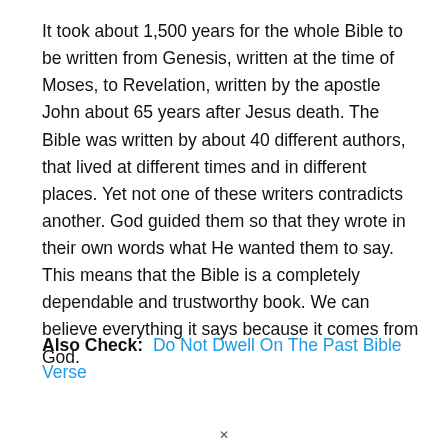It took about 1,500 years for the whole Bible to be written from Genesis, written at the time of Moses, to Revelation, written by the apostle John about 65 years after Jesus death. The Bible was written by about 40 different authors, that lived at different times and in different places. Yet not one of these writers contradicts another. God guided them so that they wrote in their own words what He wanted them to say. This means that the Bible is a completely dependable and trustworthy book. We can believe everything it says because it comes from God.
Also Check: Do Not Dwell On The Past Bible Verse